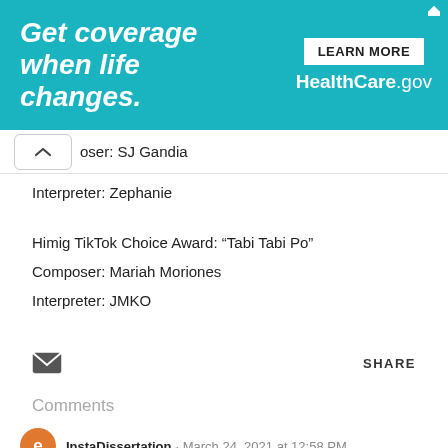[Figure (screenshot): Advertisement banner for HealthCare.gov with teal background. Text reads 'Get coverage when life changes.' with a 'LEARN MORE' button and 'HealthCare.gov' branding on the right.]
Composer: SJ Gandia
Interpreter: Zephanie
Himig TikTok Choice Award: “Tabi Tabi Po”
Composer: Mariah Moriones
Interpreter: JMKO
SHARE
Comments
InstaDissertation · March 24, 2021 at 12:58 PM